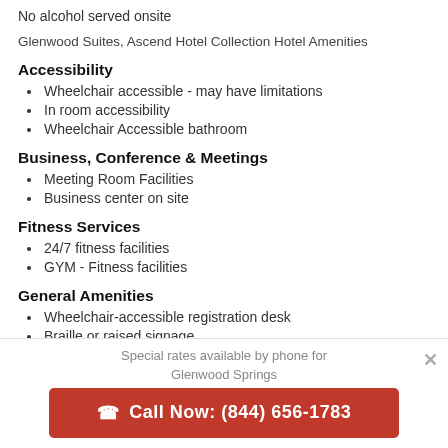No alcohol served onsite
Glenwood Suites, Ascend Hotel Collection Hotel Amenities
Accessibility
Wheelchair accessible - may have limitations
In room accessibility
Wheelchair Accessible bathroom
Business, Conference & Meetings
Meeting Room Facilities
Business center on site
Fitness Services
24/7 fitness facilities
GYM - Fitness facilities
General Amenities
Wheelchair-accessible registration desk
Braille or raised signage
Special rates available by phone for Glenwood Springs
Call Now: (844) 656-1783